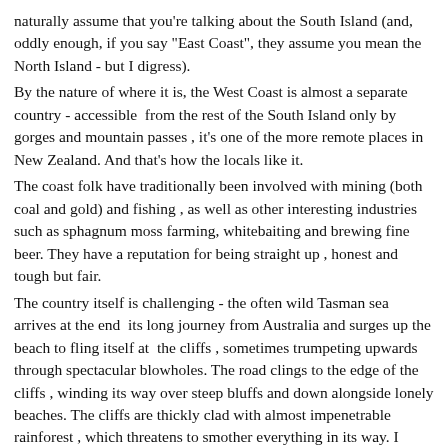naturally assume that you're talking about the South Island (and, oddly enough, if you say "East Coast", they assume you mean the North Island - but I digress). By the nature of where it is, the West Coast is almost a separate country - accessible  from the rest of the South Island only by gorges and mountain passes , it's one of the more remote places in New Zealand. And that's how the locals like it. The coast folk have traditionally been involved with mining (both coal and gold) and fishing , as well as other interesting industries such as sphagnum moss farming, whitebaiting and brewing fine beer. They have a reputation for being straight up , honest and tough but fair. The country itself is challenging - the often wild Tasman sea arrives at the end  its long journey from Australia and surges up the beach to fling itself at  the cliffs , sometimes trumpeting upwards through spectacular blowholes. The road clings to the edge of the cliffs , winding its way over steep bluffs and down alongside lonely beaches. The cliffs are thickly clad with almost impenetrable rainforest , which threatens to smother everything in its way. I reckon if you had a house there you'd be checking each day to see if the bush was creeping nearer.